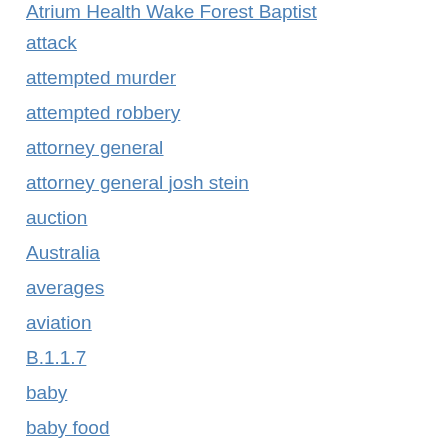Atrium Health Wake Forest Baptist
attack
attempted murder
attempted robbery
attorney general
attorney general josh stein
auction
Australia
averages
aviation
B.1.1.7
baby
baby food
Bachelor
bakery
bald eagle